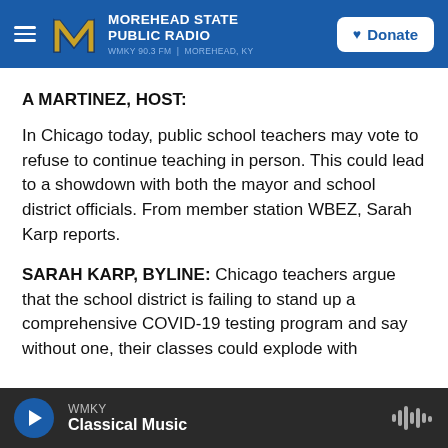MOREHEAD STATE PUBLIC RADIO — WMKY 90.3 FM | MOREHEAD, KY — Donate
A MARTINEZ, HOST:
In Chicago today, public school teachers may vote to refuse to continue teaching in person. This could lead to a showdown with both the mayor and school district officials. From member station WBEZ, Sarah Karp reports.
SARAH KARP, BYLINE: Chicago teachers argue that the school district is failing to stand up a comprehensive COVID-19 testing program and say without one, their classes could explode with
WMKY — Classical Music